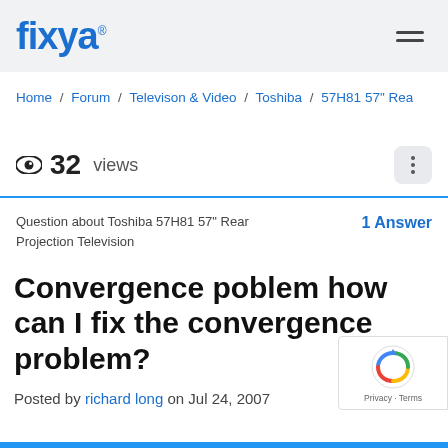fixya
Home / Forum / Televison & Video / Toshiba / 57H81 57" Rea
32 views
Question about Toshiba 57H81 57" Rear Projection Television    1 Answer
Convergence poblem how can I fix the convergence problem?
Posted by richard long on Jul 24, 2007